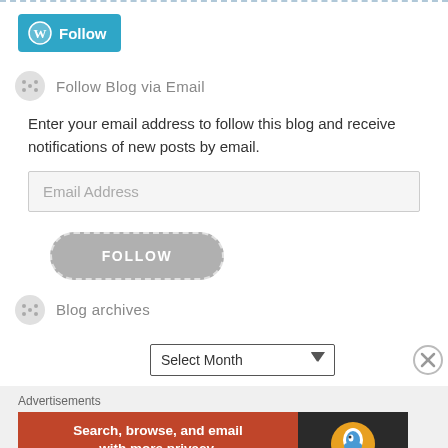[Figure (other): WordPress Follow button — teal rounded rectangle with WordPress logo and 'Follow' text]
Follow Blog via Email
Enter your email address to follow this blog and receive notifications of new posts by email.
[Figure (other): Email Address input field — light gray rounded rectangle placeholder]
[Figure (other): FOLLOW button — gray rounded pill with dashed border and white bold text 'FOLLOW']
Blog archives
[Figure (other): Select Month dropdown control]
Advertisements
[Figure (other): DuckDuckGo advertisement banner: orange-red left panel with text 'Search, browse, and email with more privacy. All in One Free App' and dark right panel with DuckDuckGo duck logo and 'DuckDuckGo' text]